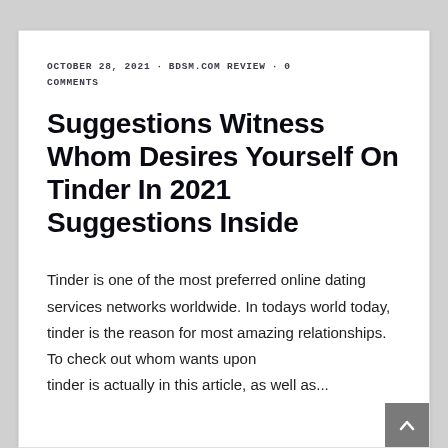OCTOBER 28, 2021 · BDSM.COM REVIEW · 0 COMMENTS
Suggestions Witness Whom Desires Yourself On Tinder In 2021 Suggestions Inside
Tinder is one of the most preferred online dating services networks worldwide. In todays world today, tinder is the reason for most amazing relationships. To check out whom wants upon tinder is actually in this article, as well as...